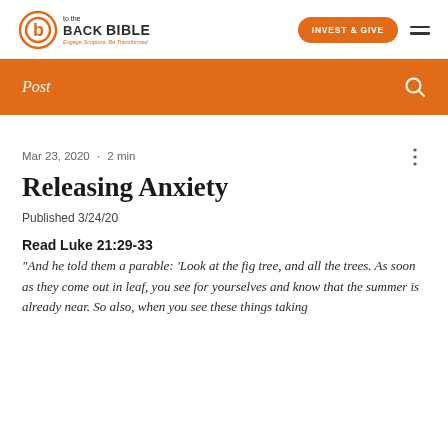Back to the Bible | INVEST & GIVE
Post
Mar 23, 2020 · 2 min
Releasing Anxiety
Published 3/24/20
Read Luke 21:29-33
"And he told them a parable: 'Look at the fig tree, and all the trees. As soon as they come out in leaf, you see for yourselves and know that the summer is already near. So also, when you see these things taking